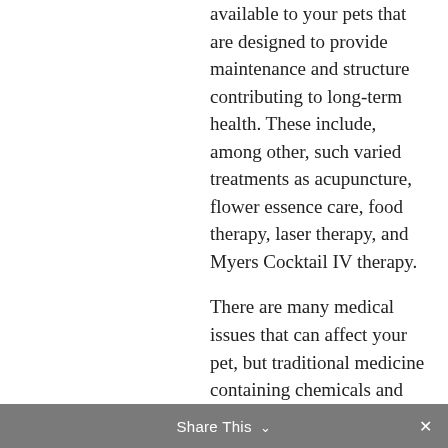available to your pets that are designed to provide maintenance and structure contributing to long-term health. These include, among other, such varied treatments as acupuncture, flower essence care, food therapy, laser therapy, and Myers Cocktail IV therapy.
There are many medical issues that can affect your pet, but traditional medicine containing chemicals and drugs do not often work, and they are not in the best
Share This